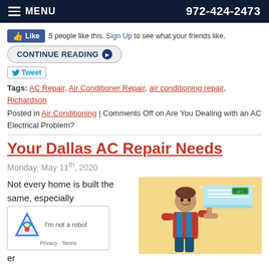MENU  972-424-2473
5 people like this. Sign Up to see what your friends like.
CONTINUE READING
Tags: AC Repair, Air Conditioner Repair, air conditioning repair, Richardson
Posted in Air Conditioning | Comments Off on Are You Dealing with an AC Electrical Problem?
Your Dallas AC Repair Needs
Monday, May 11th, 2020
Not every home is built the same, especially
[Figure (illustration): Cartoon illustration of an AC technician giving a thumbs up next to a wall-mounted air conditioner unit, on a yellow background]